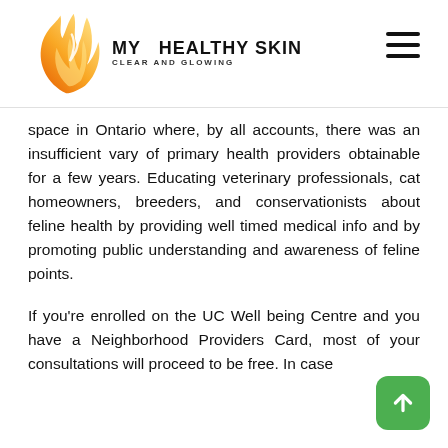MY HEALTHY SKIN — CLEAR AND GLOWING
space in Ontario where, by all accounts, there was an insufficient vary of primary health providers obtainable for a few years. Educating veterinary professionals, cat homeowners, breeders, and conservationists about feline health by providing well timed medical info and by promoting public understanding and awareness of feline points.
If you're enrolled on the UC Well being Centre and you have a Neighborhood Providers Card, most of your consultations will proceed to be free. In case